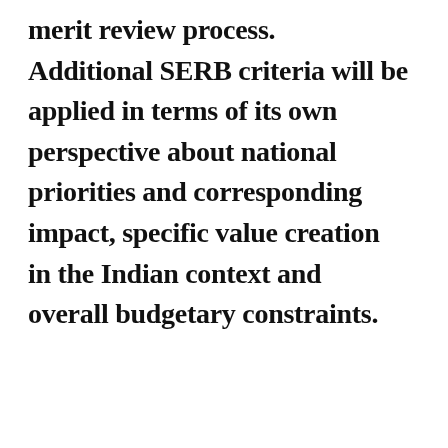merit review process. Additional SERB criteria will be applied in terms of its own perspective about national priorities and corresponding impact, specific value creation in the Indian context and overall budgetary constraints.